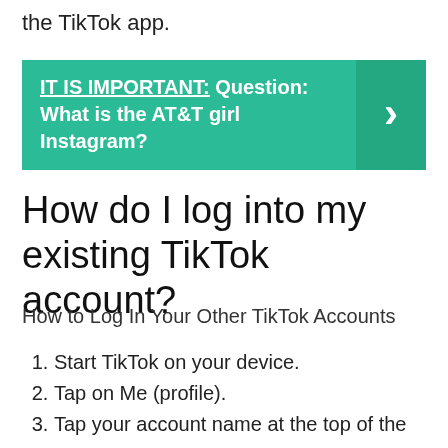the TikTok app.
[Figure (infographic): Green callout box with bold white text: 'IT IS IMPORTANT: Question: What is the AT&T girl Instagram?' with a right-arrow chevron on a darker green panel on the right.]
How do I log into my existing TikTok account?
How to Log In Your Other TikTok Accounts
Start TikTok on your device.
Tap on Me (profile).
Tap your account name at the top of the screen.
A dropdown menu with all your accounts will appear. Select to which one you want to log in.